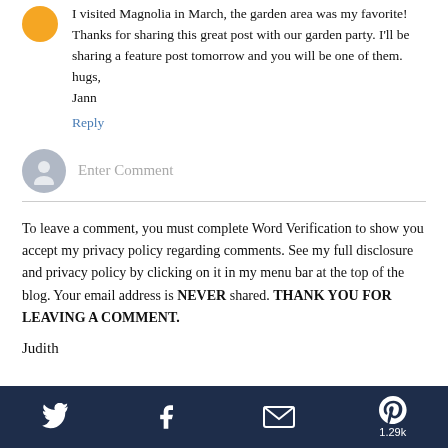I visited Magnolia in March, the garden area was my favorite! Thanks for sharing this great post with our garden party. I'll be sharing a feature post tomorrow and you will be one of them. hugs, Jann
Reply
[Figure (screenshot): Enter Comment input field with gray user avatar icon on the left]
To leave a comment, you must complete Word Verification to show you accept my privacy policy regarding comments. See my full disclosure and privacy policy by clicking on it in my menu bar at the top of the blog. Your email address is NEVER shared. THANK YOU FOR LEAVING A COMMENT.
Judith
Twitter, Facebook, Email, Pinterest 1.29k